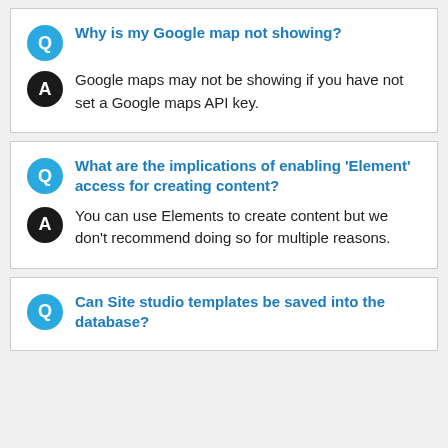Why is my Google map not showing?
Google maps may not be showing if you have not set a Google maps API key.
What are the implications of enabling 'Element' access for creating content?
You can use Elements to create content but we don't recommend doing so for multiple reasons.
Can Site studio templates be saved into the database?